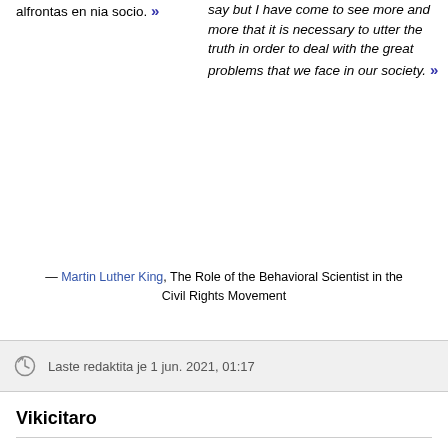alfrontas en nia socio. »
say but I have come to see more and more that it is necessary to utter the truth in order to deal with the great problems that we face in our society. »
— Martin Luther King, The Role of the Behavioral Scientist in the Civil Rights Movement
Laste redaktita je 1 jun. 2021, 01:17
Vikicitaro